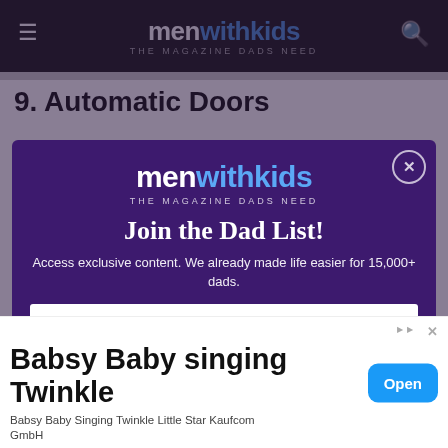menwithkids THE MAGAZINE DADS NEED
9. Automatic Doors
[Figure (screenshot): Modal popup overlay on menwithkids website with purple background, logo, 'Join the Dad List!' headline, subtext, name input, email input, and reCAPTCHA widget]
Join the Dad List!
Access exclusive content. We already made life easier for 15,000+ dads.
Name
Email
I'm not a robot
[Figure (screenshot): Advertisement banner: Babsy Baby singing Twinkle, with Open button]
Babsy Baby singing Twinkle
Babsy Baby Singing Twinkle Little Star Kaufcom GmbH